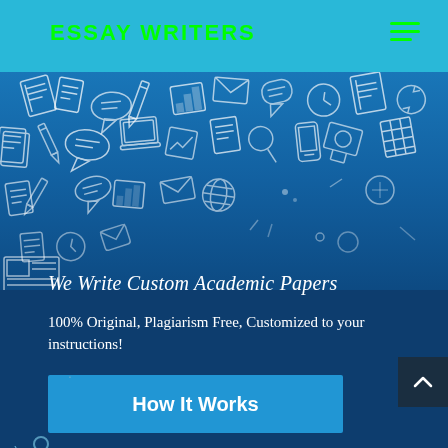ESSAY WRITERS
[Figure (illustration): Scattered white hand-drawn sketch icons of academic/writing items (books, papers, speech bubbles, pencils, charts, envelopes) on a dark blue gradient background]
We Write Custom Academic Papers
100% Original, Plagiarism Free, Customized to your instructions!
How It Works
Order Now